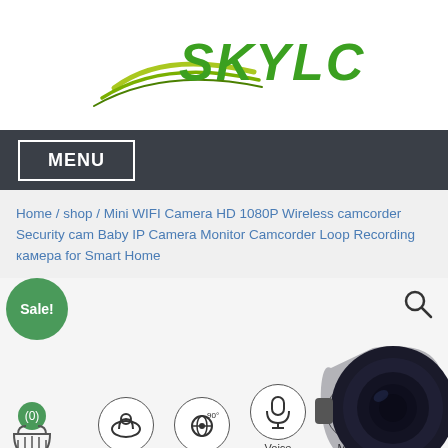[Figure (logo): SKYLCD logo with green text and swoosh graphic]
MENU
Home / shop / Mini WIFI Camera HD 1080P Wireless camcorder Security cam Baby IP Camera Monitor Camcorder Loop Recording камера for Smart Home
[Figure (photo): Product image area showing Sale! badge, cart icon, feature icons (Cloud storage, Wide 90°, Voice intercom, Motion detection), and a mini camera product photo on the right]